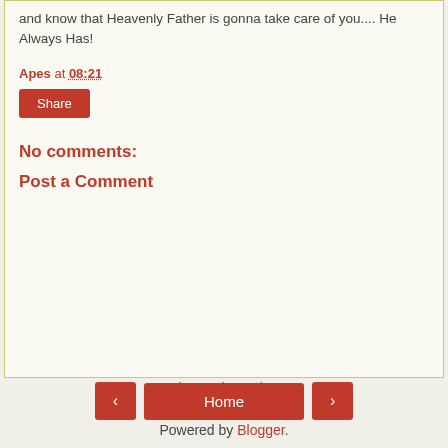and know that Heavenly Father is gonna take care of you.... He Always Has!
Apes at 08:21
Share
No comments:
Post a Comment
< Home > View web version Powered by Blogger.